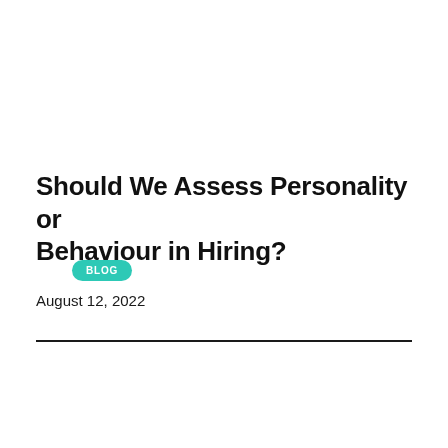BLOG
Should We Assess Personality or Behaviour in Hiring?
August 12, 2022